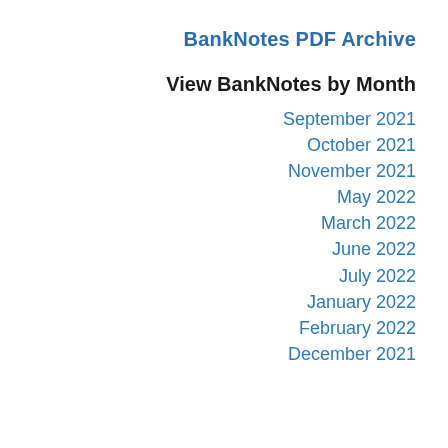BankNotes PDF Archive
View BankNotes by Month
September 2021
October 2021
November 2021
May 2022
March 2022
June 2022
July 2022
January 2022
February 2022
December 2021